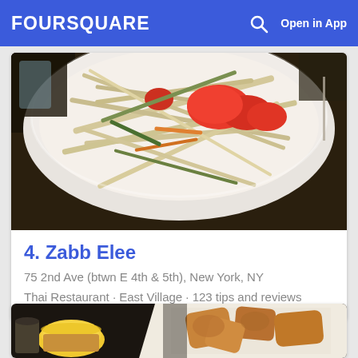FOURSQUARE  Open in App
[Figure (photo): Close-up photo of Thai papaya salad with tomatoes, shredded green papaya, and vegetables in a white bowl]
4. Zabb Elee
75 2nd Ave (btwn E 4th & 5th), New York, NY
Thai Restaurant · East Village · 123 tips and reviews
[Figure (photo): Photo of fried food items in a paper cone/basket with a yellow dipping sauce on a dark table]